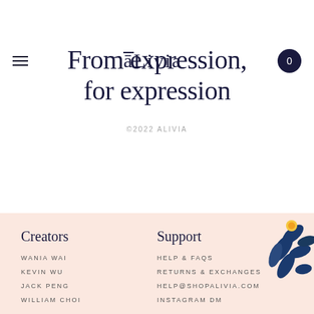āLivia — navigation bar with hamburger menu and cart (0)
From expression, for expression
©2022 ALIVIA
Creators
Support
WANIA WAI
KEVIN WU
JACK PENG
WILLIAM CHOI
HELP & FAQS
RETURNS & EXCHANGES
HELP@SHOPALIVIA.COM
INSTAGRAM DM
[Figure (illustration): Floral illustration in top-right corner of footer with blue leaves and yellow flower]
[Figure (illustration): Orange circular settings/filter icon button in bottom right]